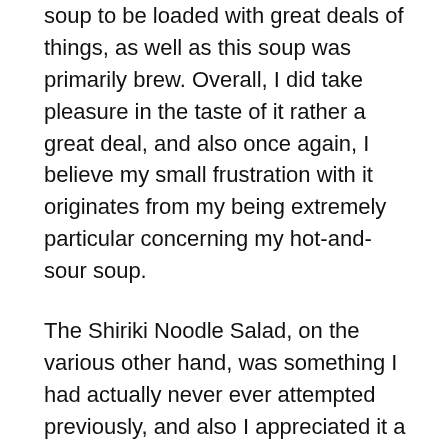soup to be loaded with great deals of things, as well as this soup was primarily brew. Overall, I did take pleasure in the taste of it rather a great deal, and also once again, I believe my small frustration with it originates from my being extremely particular concerning my hot-and-sour soup.
The Shiriki Noodle Salad, on the various other hand, was something I had actually never ever attempted previously, and also I appreciated it a fair bit. It was a cool salad with incredibly slim noodles, different veggies consisting of carrots and also edamame, and also a bit of mango. The mix of wonderful and also mouthwatering tastes was so intriguing, and also the pleasant chili sauce the salad was splashed with provided it a little flavor without being also overwhelming. Bordering the